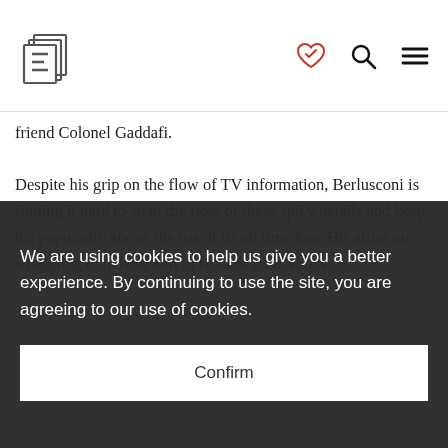E logo with heart/search/menu icons
friend Colonel Gaddafi.
Despite his grip on the flow of TV information, Berlusconi is finding it hard to stem the flow of these spicy details and keep his popularity above the bar of its all time low. His allies are struggling to defend him in front of their voters, already strained by the economic crisis. The press
Italy's ongoing political and social unrest, while the public, used to the impotence of press
We are using cookies to help us give you a better experience. By continuing to use the site, you are agreeing to our use of cookies.
Confirm